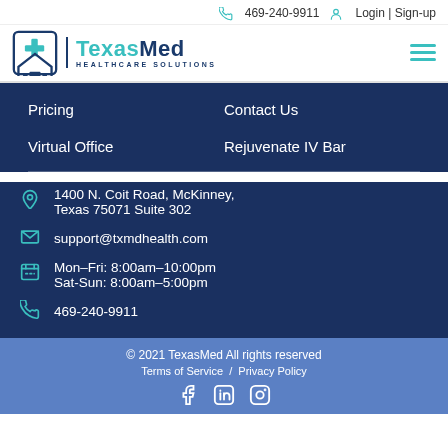469-240-9911  Login | Sign-up
[Figure (logo): TexasMed Healthcare Solutions logo with teal cross and house icon]
Pricing
Contact Us
Virtual Office
Rejuvenate IV Bar
1400 N. Coit Road, McKinney, Texas 75071 Suite 302
support@txmdhealth.com
Mon–Fri: 8:00am–10:00pm
Sat-Sun: 8:00am–5:00pm
469-240-9911
© 2021 TexasMed All rights reserved
Terms of Service / Privacy Policy